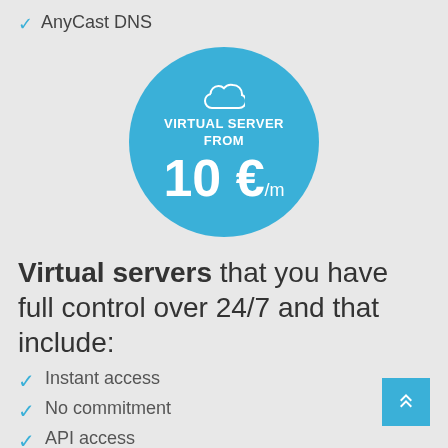✓ AnyCast DNS
[Figure (infographic): Teal circle badge with cloud icon, text 'VIRTUAL SERVER FROM' and price '10 €/m']
Virtual servers that you have full control over 24/7 and that include:
✓ Instant access
✓ No commitment
✓ API access
✓ Easy control panel that lets you manage everything yourself 24/7